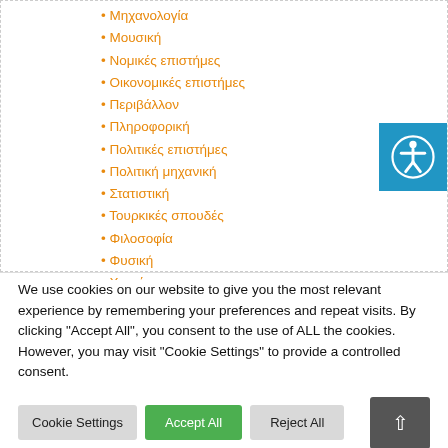• Μηχανολογία
• Μουσική
• Νομικές επιστήμες
• Οικονομικές επιστήμες
• Περιβάλλον
• Πληροφορική
• Πολιτικές επιστήμες
• Πολιτική μηχανική
• Στατιστική
• Τουρκικές σπουδές
• Φιλοσοφία
• Φυσική
• Χημεία
• Χημική μηχανική
• Ψυχολογία
• Ωκεανογραφία
We use cookies on our website to give you the most relevant experience by remembering your preferences and repeat visits. By clicking "Accept All", you consent to the use of ALL the cookies. However, you may visit "Cookie Settings" to provide a controlled consent.